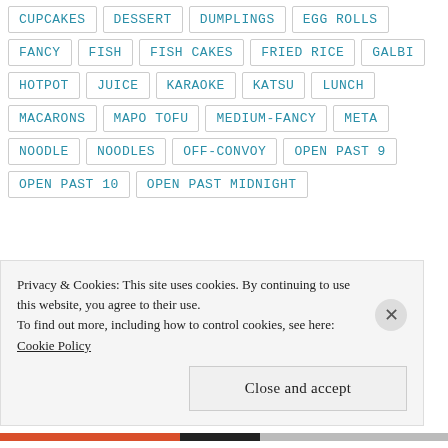CUPCAKES
DESSERT
DUMPLINGS
EGG ROLLS
FANCY
FISH
FISH CAKES
FRIED RICE
GALBI
HOTPOT
JUICE
KARAOKE
KATSU
LUNCH
MACARONS
MAPO TOFU
MEDIUM-FANCY
META
NOODLE
NOODLES
OFF-CONVOY
OPEN PAST 9
OPEN PAST 10
OPEN PAST MIDNIGHT
Privacy & Cookies: This site uses cookies. By continuing to use this website, you agree to their use.
To find out more, including how to control cookies, see here: Cookie Policy
Close and accept